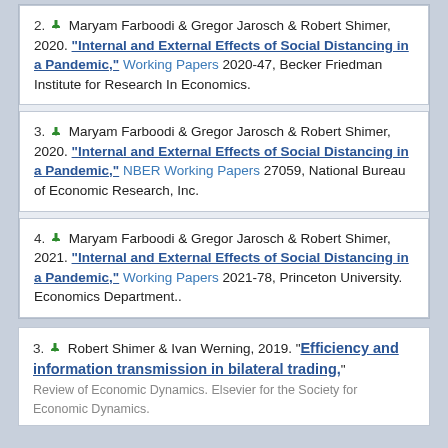2. Maryam Farboodi & Gregor Jarosch & Robert Shimer, 2020. "Internal and External Effects of Social Distancing in a Pandemic," Working Papers 2020-47, Becker Friedman Institute for Research In Economics.
3. Maryam Farboodi & Gregor Jarosch & Robert Shimer, 2020. "Internal and External Effects of Social Distancing in a Pandemic," NBER Working Papers 27059, National Bureau of Economic Research, Inc.
4. Maryam Farboodi & Gregor Jarosch & Robert Shimer, 2021. "Internal and External Effects of Social Distancing in a Pandemic," Working Papers 2021-78, Princeton University. Economics Department..
3. Robert Shimer & Ivan Werning, 2019. "Efficiency and information transmission in bilateral trading," Review of Economic Dynamics. Elsevier for the Society for Economic Dynamics.